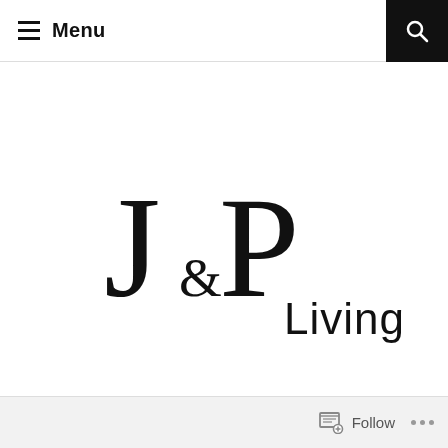Menu
[Figure (logo): J&P Living logo — stylized J and P letterforms with ampersand and 'Living' text in black]
Follow ...